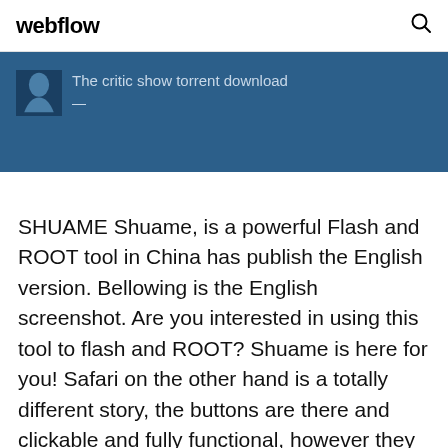webflow
[Figure (screenshot): Blue banner with avatar icon and text 'The critic show torrent download']
SHUAME Shuame, is a powerful Flash and ROOT tool in China has publish the English version. Bellowing is the English screenshot. Are you interested in using this tool to flash and ROOT? Shuame is here for you! Safari on the other hand is a totally different story, the buttons are there and clickable and fully functional, however they are invisible. I just see.